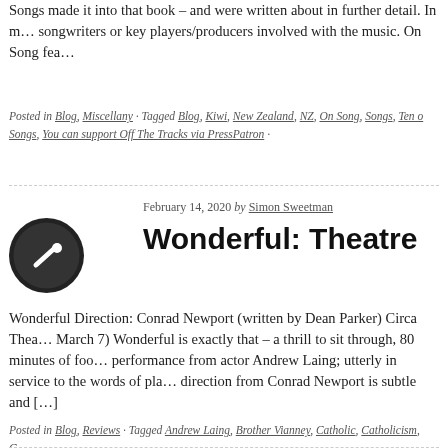Songs made it into that book – and were written about in further detail. In m… songwriters or key players/producers involved with the music. On Song fea…
Posted in Blog, Miscellany · Tagged Blog, Kiwi, New Zealand, NZ, On Song, Songs, Ten o… Songs, You can support Off The Tracks via PressPatron ·
February 14, 2020 by Simon Sweetman
Wonderful: Theatre
Wonderful Direction: Conrad Newport (written by Dean Parker) Circa Thea… March 7) Wonderful is exactly that – a thrill to sit through, 80 minutes of foo… performance from actor Andrew Laing; utterly in service to the words of pla… direction from Conrad Newport is subtle and […]
Posted in Blog, Reviews · Tagged Andrew Laing, Brother Vianney, Catholic, Catholicism, C… Two, Conrad Newport, Dean Parker, February 12 – March 7, Film, Marist, Movies, Music… Show, Play, Play Review, Rodgers & Hammerstein, Songs, Theatre, Theatre Review, Wo… Wonderful: Theatre, You can support Off The Tracks via PressPatron ·